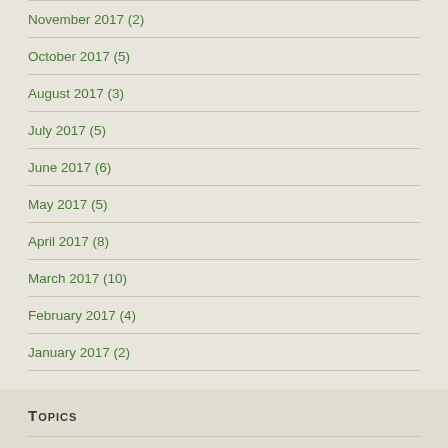November 2017 (2)
October 2017 (5)
August 2017 (3)
July 2017 (5)
June 2017 (6)
May 2017 (5)
April 2017 (8)
March 2017 (10)
February 2017 (4)
January 2017 (2)
Topics
2017 Biodiversity Goals (1)
2017 Highlights (1)